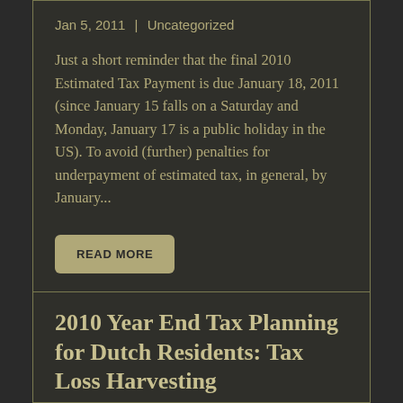Jan 5, 2011 | Uncategorized
Just a short reminder that the final 2010 Estimated Tax Payment is due January 18, 2011 (since January 15 falls on a Saturday and Monday, January 17 is a public holiday in the US). To avoid (further) penalties for underpayment of estimated tax, in general, by January...
READ MORE
2010 Year End Tax Planning for Dutch Residents: Tax Loss Harvesting